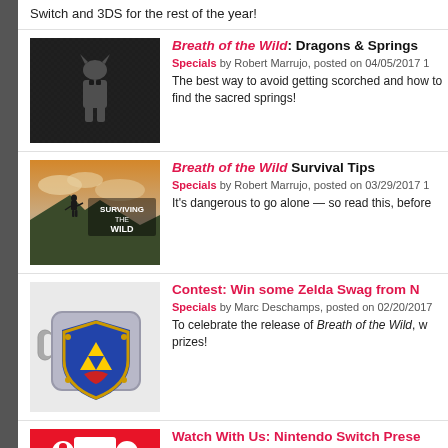Switch and 3DS for the rest of the year!
Breath of the Wild: Dragons & Springs
Specials by Robert Marrujo, posted on 04/05/2017
The best way to avoid getting scorched and how to find the sacred springs!
[Figure (photo): Dark textured background with a small Breath of the Wild character silhouette]
Breath of the Wild Survival Tips
Specials by Robert Marrujo, posted on 03/29/2017
It's dangerous to go alone — so read this, before
[Figure (photo): Breath of the Wild Surviving the Wild landscape image with Link on a mountaintop]
Contest: Win some Zelda Swag from N
Specials by Marc Deschamps, posted on 02/20/2017
To celebrate the release of Breath of the Wild, w... prizes!
[Figure (photo): Zelda Hylian Shield mug merchandise photo]
Watch With Us: Nintendo Switch Prese
Specials by Nintendojo Staff, posted on 01/12/2017
Join us tonight as Nintendo unveils Switch's...
[Figure (photo): Nintendo Switch red logo image]